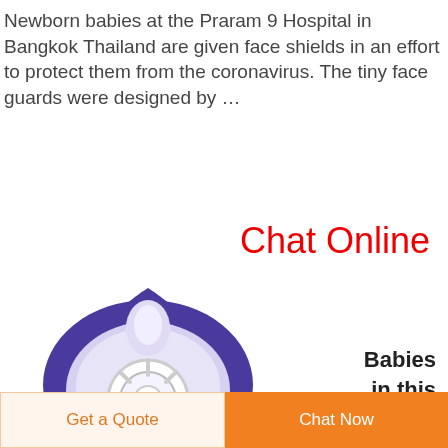Newborn babies at the Praram 9 Hospital in Bangkok Thailand are given face shields in an effort to protect them from the coronavirus. The tiny face guards were designed by …
Chat Online
Babies in this
[Figure (photo): A purple and white baby face shield/mask, teardrop-shaped with a clear silicone nipple-like center piece and radial spokes, viewed from below]
Get a Quote
Chat Now